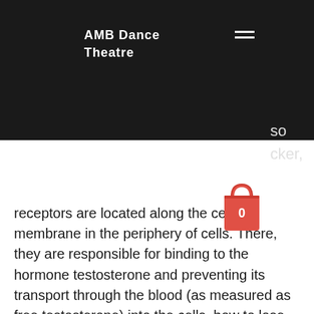AMB Dance Theatre
[Figure (other): Red shopping bag icon with number 0]
receptors are located along the cell membrane in the periphery of cells. There, they are responsible for binding to the hormone testosterone and preventing its transport through the blood (as measured as free testosterone) into the cells, how to lose water weight while on steroids. These receptors are responsible for the transport of hormones and a number of other substances, how to take clenbuterol pills for weight loss. Thus for Clenbuterol, they act at the central nervous system (CNS) where they bind to the beta adrenergic receptors and are therefore used for the suppression